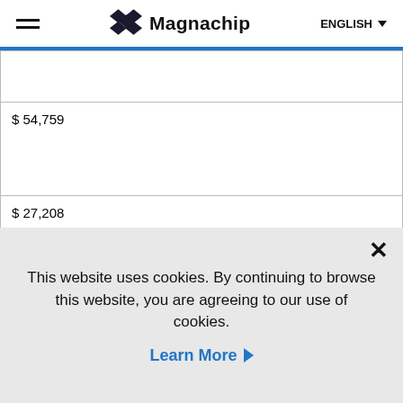Magnachip — ENGLISH
| $ 54,759 |
|  |
| $ 27,208 |
|  |
| Other |
|  |
| $ 532 |
This website uses cookies. By continuing to browse this website, you are agreeing to our use of cookies.
Learn More